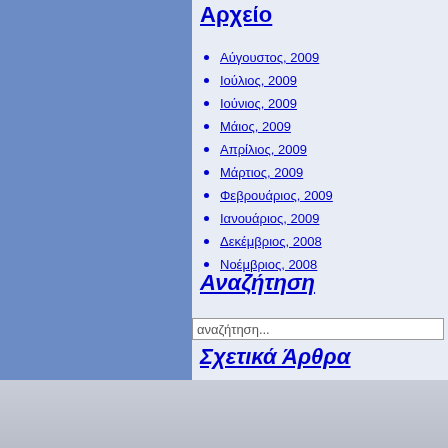Αρχείο
Αύγουστος, 2009
Ιούλιος, 2009
Ιούνιος, 2009
Μάιος, 2009
Απρίλιος, 2009
Μάρτιος, 2009
Φεβρουάριος, 2009
Ιανουάριος, 2009
Δεκέμβριος, 2008
Νοέμβριος, 2008
Αναζήτηση
αναζήτηση...
Σχετικά Άρθρα